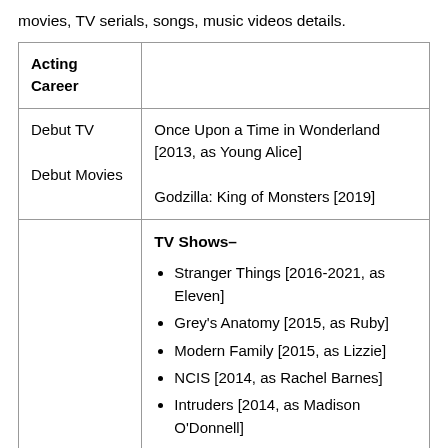movies, TV serials, songs, music videos details.
| Acting Career |  |
| --- | --- |
| Debut TV
Debut Movies | Once Upon a Time in Wonderland [2013, as Young Alice]

Godzilla: King of Monsters [2019] |
|  | TV Shows–
• Stranger Things [2016-2021, as Eleven]
• Grey's Anatomy [2015, as Ruby]
• Modern Family [2015, as Lizzie]
• NCIS [2014, as Rachel Barnes]
• Intruders [2014, as Madison O'Donnell]
• Once Upon a Time in Wonderland |